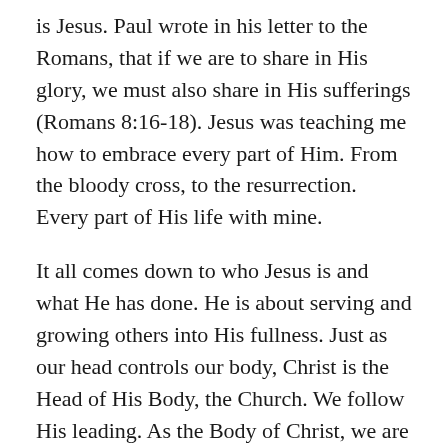is Jesus. Paul wrote in his letter to the Romans, that if we are to share in His glory, we must also share in His sufferings (Romans 8:16-18). Jesus was teaching me how to embrace every part of Him. From the bloody cross, to the resurrection. Every part of His life with mine.
It all comes down to who Jesus is and what He has done. He is about serving and growing others into His fullness. Just as our head controls our body, Christ is the Head of His Body, the Church. We follow His leading. As the Body of Christ, we are different and unique. But called to function as one for The One. When parts are broken or